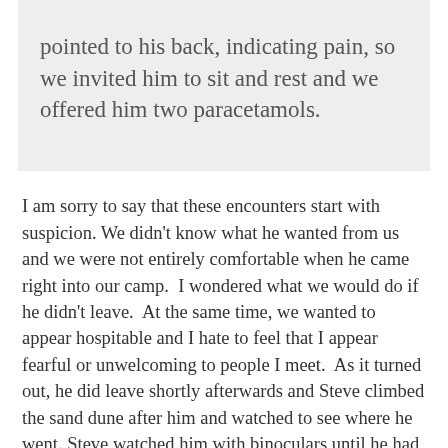pointed to his back, indicating pain, so we invited him to sit and rest and we offered him two paracetamols.
I am sorry to say that these encounters start with suspicion. We didn't know what he wanted from us and we were not entirely comfortable when he came right into our camp.  I wondered what we would do if he didn't leave.  At the same time, we wanted to appear hospitable and I hate to feel that I appear fearful or unwelcoming to people I meet.  As it turned out, he did leave shortly afterwards and Steve climbed the sand dune after him and watched to see where he went.  Steve watched him with binoculars until he had disappeared over the dunes on the horizon.  We